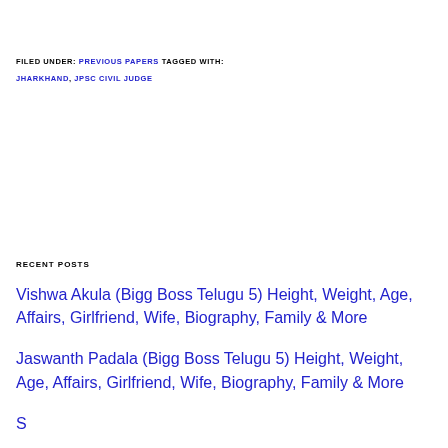FILED UNDER: PREVIOUS PAPERS TAGGED WITH: JHARKHAND, JPSC CIVIL JUDGE
RECENT POSTS
Vishwa Akula (Bigg Boss Telugu 5) Height, Weight, Age, Affairs, Girlfriend, Wife, Biography, Family & More
Jaswanth Padala (Bigg Boss Telugu 5) Height, Weight, Age, Affairs, Girlfriend, Wife, Biography, Family & More